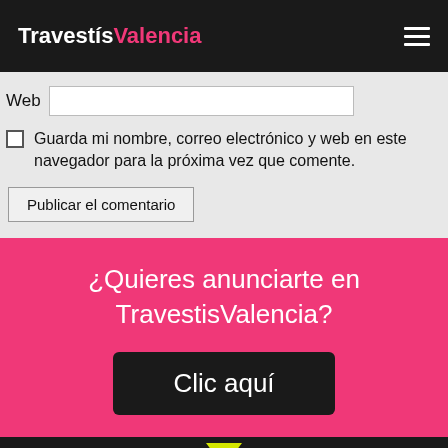TravestísValencia
Web [input field]
Guarda mi nombre, correo electrónico y web en este navegador para la próxima vez que comente.
Publicar el comentario
¿Quieres anunciarte en TravestisValencia?
Clic aquí